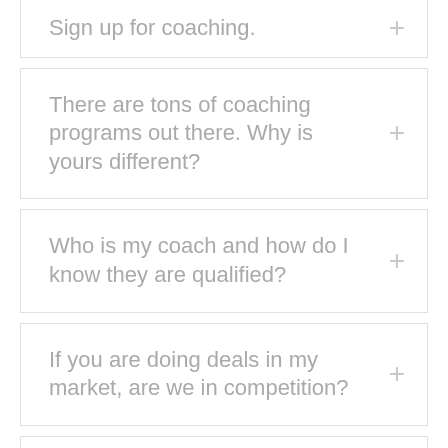Sign up for coaching.
There are tons of coaching programs out there. Why is yours different?
Who is my coach and how do I know they are qualified?
If you are doing deals in my market, are we in competition?
Can anyone join your program?
What is the next step?